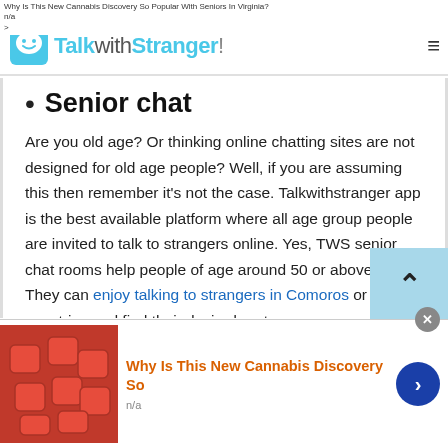Why Is This New Cannabis Discovery So Popular With Seniors In Virginia?
n/a
>
TalkwithStranger!
Senior chat
Are you old age? Or thinking online chatting sites are not designed for old age people? Well, if you are assuming this then remember it's not the case. Talkwithstranger app is the best available platform where all age group people are invited to talk to strangers online. Yes, TWS senior chat rooms help people of age around 50 or above 50. They can enjoy talking to strangers in Comoros or other countries and find their desired partners.
[Figure (other): Advertisement banner with cannabis gummy candy image. Title: Why Is This New Cannabis Discovery So. Subtitle: n/a. With close button and forward arrow button.]